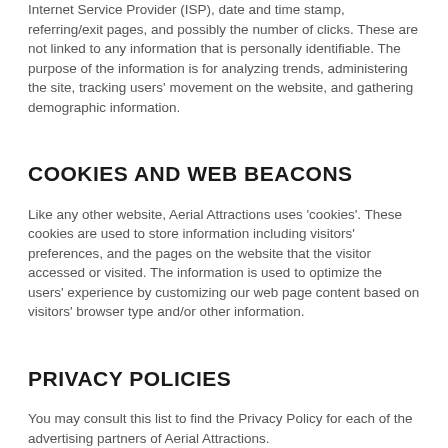Internet Service Provider (ISP), date and time stamp, referring/exit pages, and possibly the number of clicks. These are not linked to any information that is personally identifiable. The purpose of the information is for analyzing trends, administering the site, tracking users' movement on the website, and gathering demographic information.
COOKIES AND WEB BEACONS
Like any other website, Aerial Attractions uses 'cookies'. These cookies are used to store information including visitors' preferences, and the pages on the website that the visitor accessed or visited. The information is used to optimize the users' experience by customizing our web page content based on visitors' browser type and/or other information.
PRIVACY POLICIES
You may consult this list to find the Privacy Policy for each of the advertising partners of Aerial Attractions.